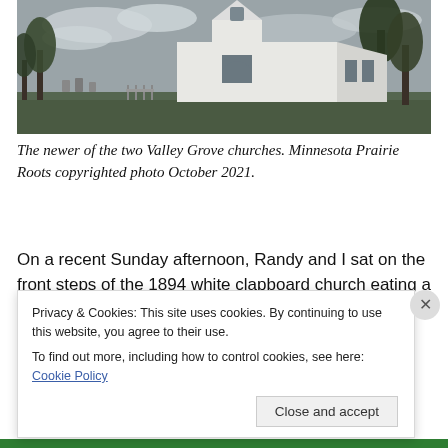[Figure (photo): A white clapboard church with Gothic arch windows and a small steeple, photographed from a slight angle showing the front and side. Trees visible in background under cloudy sky.]
The newer of the two Valley Grove churches. Minnesota Prairie Roots copyrighted photo October 2021.
On a recent Sunday afternoon, Randy and I sat on the front steps of the 1894 white clapboard church eating a
Privacy & Cookies: This site uses cookies. By continuing to use this website, you agree to their use.
To find out more, including how to control cookies, see here: Cookie Policy